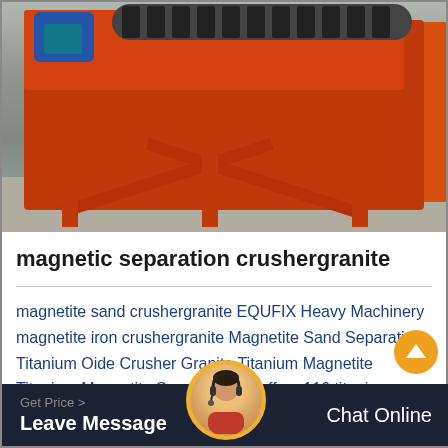[Figure (photo): Photo of a large orange industrial magnetic separation machine with a blue electric motor on the left, spiral drum on top, and a concrete floor background.]
magnetic separation crushergranite
magnetite sand crushergranite EQUFIX Heavy Machinery magnetite iron crushergranite Magnetite Sand Separation Titanium Oide Crusher Granite Titanium Magnetite Titanium Magnetite Suppliers And offers 116 titanium magnetite products About 2
Get Price > Leave Message   Chat Online